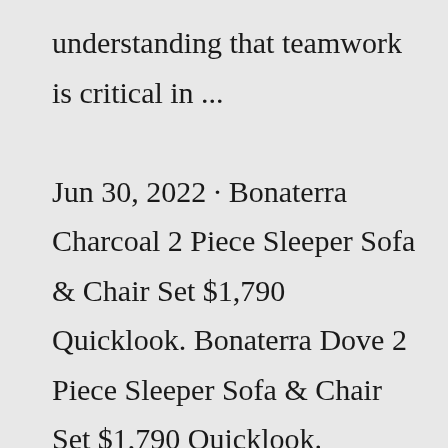understanding that teamwork is critical in ... Jun 30, 2022 · Bonaterra Charcoal 2 Piece Sleeper Sofa & Chair Set $1,790 Quicklook. Bonaterra Dove 2 Piece Sleeper Sofa & Chair Set $1,790 Quicklook. Bonaterra Sand 2 Piece Sleeper Sofa & Chair Set $1,790 Quicklook. Bonaterra Charcoal 127" 2 Piece Sectional With Left Arm Facing Corner Chaise & Right Arm Facing Sleeper Sofa $1,750. Hancock and